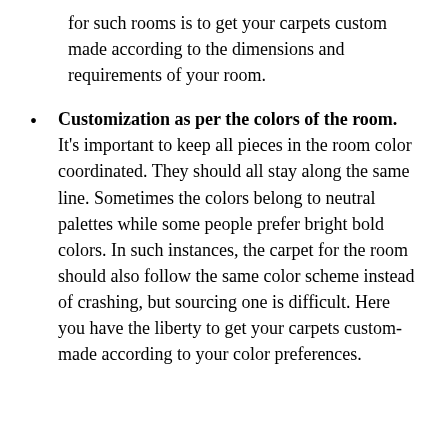for such rooms is to get your carpets custom made according to the dimensions and requirements of your room.
Customization as per the colors of the room. It's important to keep all pieces in the room color coordinated. They should all stay along the same line. Sometimes the colors belong to neutral palettes while some people prefer bright bold colors. In such instances, the carpet for the room should also follow the same color scheme instead of crashing, but sourcing one is difficult. Here you have the liberty to get your carpets custom-made according to your color preferences.